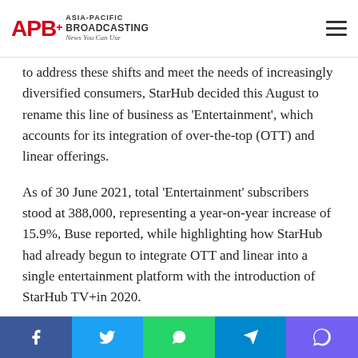APB+ Asia-Pacific Broadcasting — News You Can Use
to address these shifts and meet the needs of increasingly diversified consumers, StarHub decided this August to rename this line of business as 'Entertainment', which accounts for its integration of over-the-top (OTT) and linear offerings.
As of 30 June 2021, total 'Entertainment' subscribers stood at 388,000, representing a year-on-year increase of 15.9%, Buse reported, while highlighting how StarHub had already begun to integrate OTT and linear into a single entertainment platform with the introduction of StarHub TV+in 2020.
“This hybrid offering [StarHub+] allows customers to shift their viewing time, as well as watch everything across any screen they prefer,” he said. “Through their phones, TVs and browsers alike, our customers can stream shows from Disney+, Netflix